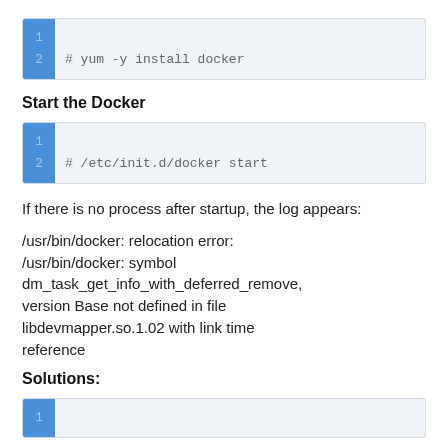[Figure (screenshot): Code block with line numbers 1 and 2, containing command: # yum -y install docker]
Start the Docker
[Figure (screenshot): Code block with line numbers 1 and 2, containing command: # /etc/init.d/docker start]
If there is no process after startup, the log appears:
/usr/bin/docker: relocation error: /usr/bin/docker: symbol dm_task_get_info_with_deferred_remove, version Base not defined in file libdevmapper.so.1.02 with link time reference
Solutions:
[Figure (screenshot): Code block with line number 1, partially visible]